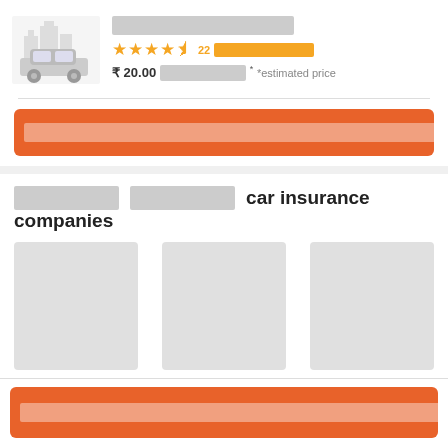[Figure (illustration): Car icon with city skyline background in light gray]
[redacted product name]
★★★★½ 22 [redacted] ₹ 20.00 [redacted]* *estimated price
[redacted button text - orange CTA button]
[redacted] [redacted] car insurance companies
[Figure (other): Three gray placeholder card blocks for insurance company logos]
[redacted button text - orange CTA button]